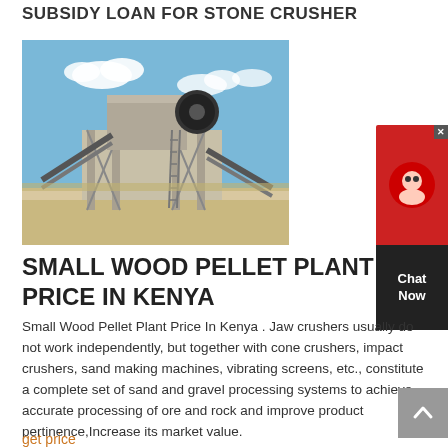SUBSIDY LOAN FOR STONE CRUSHER
[Figure (photo): Outdoor photo of a stone crusher industrial plant with conveyor belts, steel structure, and sandy ground under a partly cloudy blue sky]
SMALL WOOD PELLET PLANT PRICE IN KENYA
Small Wood Pellet Plant Price In Kenya . Jaw crushers usually do not work independently, but together with cone crushers, impact crushers, sand making machines, vibrating screens, etc., constitute a complete set of sand and gravel processing systems to achieve accurate processing of ore and rock and improve product pertinence,Increase its market value.
get price